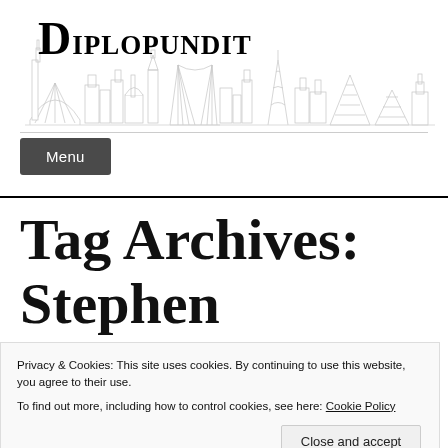[Figure (illustration): Diplopundit blog header with site title in large serif font and a detailed pencil-sketch skyline of world landmarks (Eiffel Tower, pyramids, bridges, domes) spanning the full width]
Menu
Tag Archives:
Stephen
Privacy & Cookies: This site uses cookies. By continuing to use this website, you agree to their use.
To find out more, including how to control cookies, see here: Cookie Policy
Close and accept
JULY 11, 2018  By  domani spero  in  AMBASSADORS, FOREIGN SERVICE,